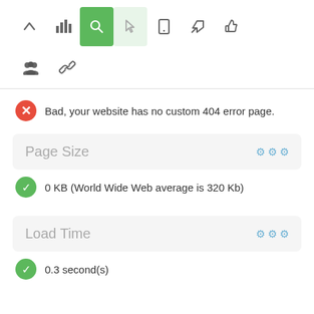[Figure (screenshot): Toolbar with icons: up arrow, bar chart, search (active green), cursor (active light green), mobile, send, thumbs up; second row: group, link icons]
Bad, your website has no custom 404 error page.
Page Size
0 KB (World Wide Web average is 320 Kb)
Load Time
0.3 second(s)